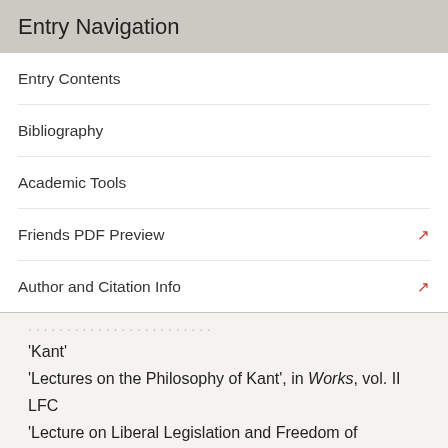Entry Navigation
Entry Contents
Bibliography
Academic Tools
Friends PDF Preview
Author and Citation Info
'Kant'
'Lectures on the Philosophy of Kant', in Works, vol. II
LFC
'Lecture on Liberal Legislation and Freedom of Contract', in Works, vol. III
LPPO
'Lectures on the Principles of Political Obligation', in Harris and Morrow, 1986